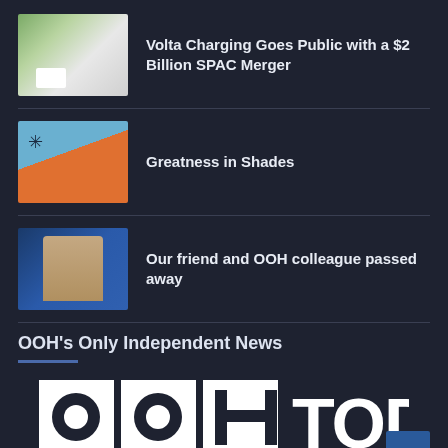[Figure (photo): Thumbnail image of electric car charging station outdoors]
Volta Charging Goes Public with a $2 Billion SPAC Merger
[Figure (photo): Thumbnail image of people on stage with orange backdrop]
Greatness in Shades
[Figure (photo): Thumbnail headshot portrait of a man against blue background]
Our friend and OOH colleague passed away
OOH's Only Independent News
[Figure (logo): OOH TODAY logo in white on dark background]